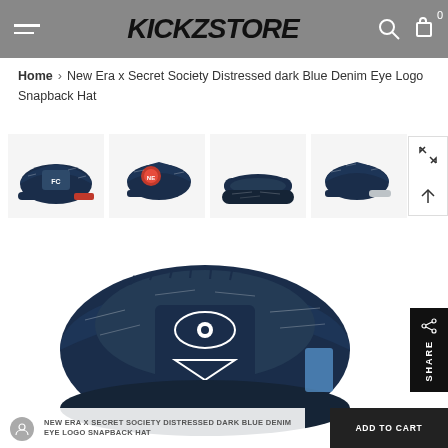KICKZSTORE
Home > New Era x Secret Society Distressed dark Blue Denim Eye Logo Snapback Hat
[Figure (photo): Four thumbnail photos of a dark blue denim distressed snapback hat: front view showing logo, left side view, brim/inside view, and right side view]
[Figure (photo): Large main product photo of New Era x Secret Society Distressed Dark Blue Denim Eye Logo Snapback Hat, viewed from front/above showing distressed denim texture and eye logo detail]
NEW ERA X SECRET SOCIETY DISTRESSED DARK BLUE DENIM EYE LOGO SNAPBACK HAT
ADD TO CART